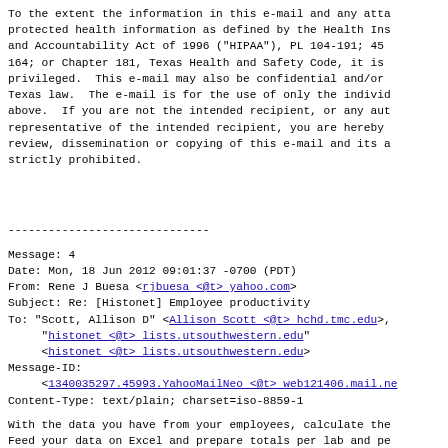To the extent the information in this e-mail and any atta protected health information as defined by the Health Ins and Accountability Act of 1996 ("HIPAA"), PL 104-191; 45 164; or Chapter 181, Texas Health and Safety Code, it is privileged.  This e-mail may also be confidential and/or Texas law.  The e-mail is for the use of only the individ above.  If you are not the intended recipient, or any aut representative of the intended recipient, you are hereby review, dissemination or copying of this e-mail and its a strictly prohibited.
------------------------------
Message: 4
Date: Mon, 18 Jun 2012 09:01:37 -0700 (PDT)
From: Rene J Buesa <rjbuesa <@t> yahoo.com>
Subject: Re: [Histonet] Employee productivity
To: "Scott, Allison D" <Allison Scott <@t> hchd.tmc.edu>,
     "histonet <@t> lists.utsouthwestern.edu"
     <histonet <@t> lists.utsouthwestern.edu>
Message-ID:
     <1340035297.45993.YahooMailNeo <@t> web121406.mail.ne
Content-Type: text/plain; charset=iso-8859-1
With the data you have from your employees, calculate the Feed your data on Excel and prepare totals per lab and pe René J.